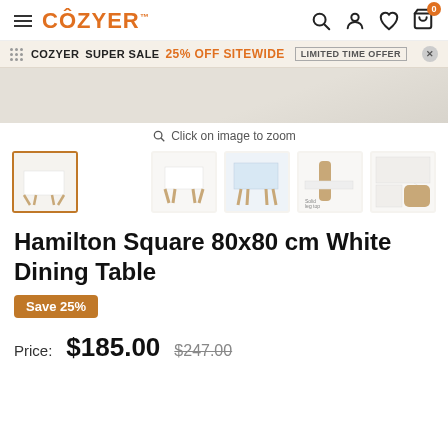COZYER™ | Navigation icons: search, account, wishlist, cart (0)
COZYER SUPER SALE 25% OFF SITEWIDE LIMITED TIME OFFER
[Figure (photo): Product image area showing white dining table, partially visible at top]
Click on image to zoom
[Figure (photo): Thumbnail gallery: 5 product images of the Hamilton Square dining table from different angles and detail shots]
Hamilton Square 80x80 cm White Dining Table
Save 25%
Price: $185.00 $247.00